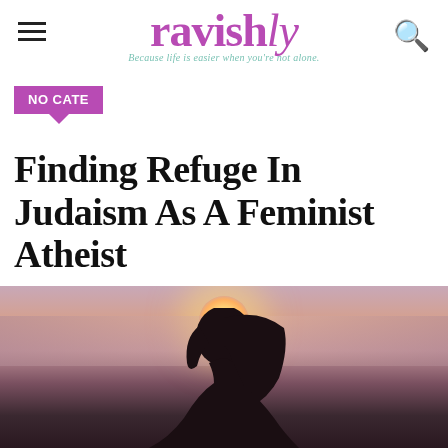ravishly — Because life is easier when you're not alone.
NO CATE
Finding Refuge In Judaism As A Feminist Atheist
[Figure (photo): Silhouette of a woman with long hair against a dramatic sunset sky with pink and orange clouds]